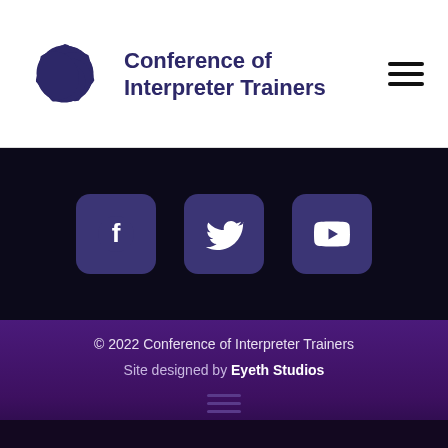[Figure (logo): Conference of Interpreter Trainers spiral logo in dark purple, with organization name to the right]
[Figure (infographic): Social media icon buttons for Facebook, Twitter, and YouTube on dark background]
© 2022 Conference of Interpreter Trainers
Site designed by Eyeth Studios